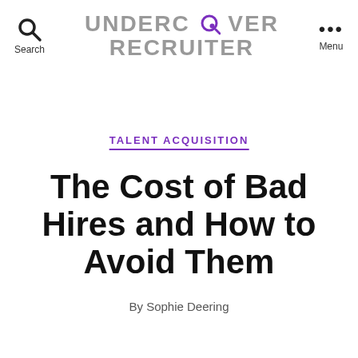Undercover Recruiter
TALENT ACQUISITION
The Cost of Bad Hires and How to Avoid Them
By Sophie Deering